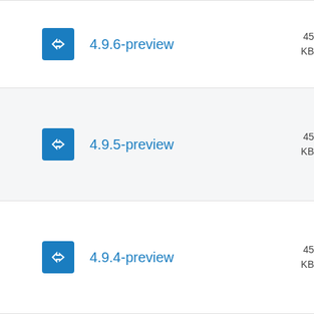4.9.6-preview
4.9.5-preview
4.9.4-preview
4.9.4-...preview (partial)